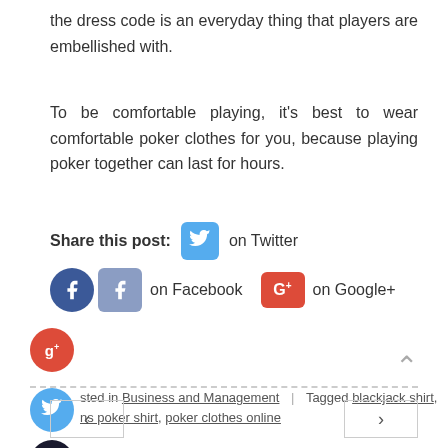the dress code is an everyday thing that players are embellished with.
To be comfortable playing, it’s best to wear comfortable poker clothes for you, because playing poker together can last for hours.
Share this post: on Twitter
on Facebook  on Google+
Posted in Business and Management | Tagged blackjack shirt, mens poker shirt, poker clothes online